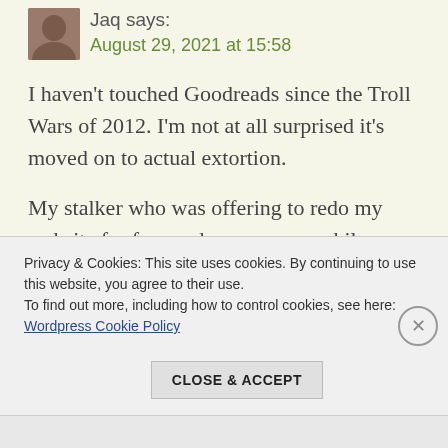Jaq says:
August 29, 2021 at 15:58
I haven't touched Goodreads since the Troll Wars of 2012. I'm not at all surprised it's moved on to actual extortion.
My stalker who was offering to redo my website for free under one name while posting bad reviews of projects that hadn't been released yet under another is still on there, along with a few
Privacy & Cookies: This site uses cookies. By continuing to use this website, you agree to their use.
To find out more, including how to control cookies, see here:
Wordpress Cookie Policy
CLOSE & ACCEPT